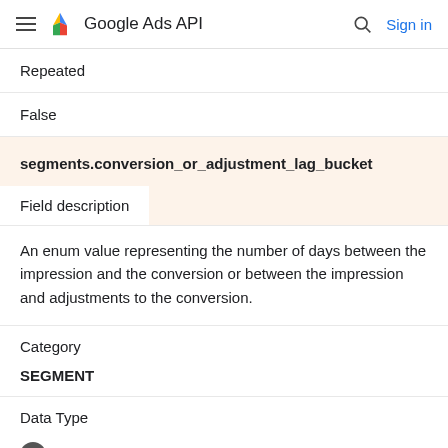Google Ads API | Sign in
Repeated
False
segments.conversion_or_adjustment_lag_bucket
Field description
An enum value representing the number of days between the impression and the conversion or between the impression and adjustments to the conversion.
Category
SEGMENT
Data Type
ENUM